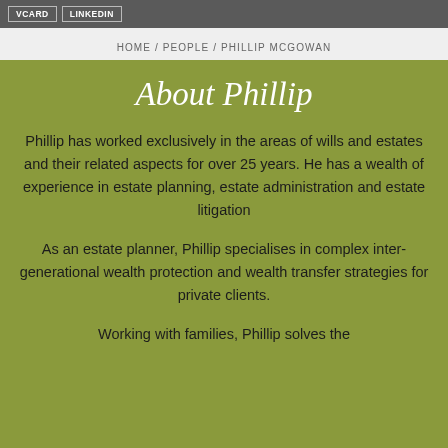HOME / PEOPLE / PHILLIP MCGOWAN
About Phillip
Phillip has worked exclusively in the areas of wills and estates and their related aspects for over 25 years. He has a wealth of experience in estate planning, estate administration and estate litigation
As an estate planner, Phillip specialises in complex inter-generational wealth protection and wealth transfer strategies for private clients.
Working with families, Phillip solves the